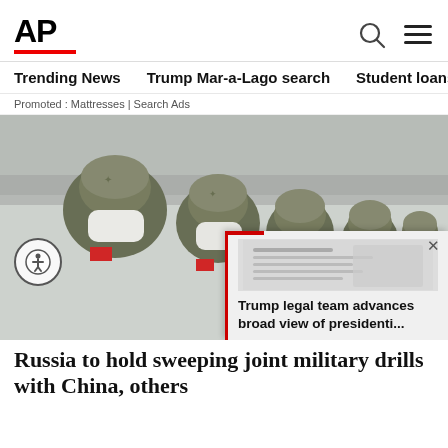AP
Trending News  Trump Mar-a-Lago search  Student loans  U.S.
Promoted : Mattresses | Search Ads
[Figure (photo): Row of soldiers in military uniforms and helmets dusted with snow, wearing white face masks, with Chinese flags on their sleeves]
Trump legal team advances broad view of presidenti...
Russia to hold sweeping joint military drills with China, others